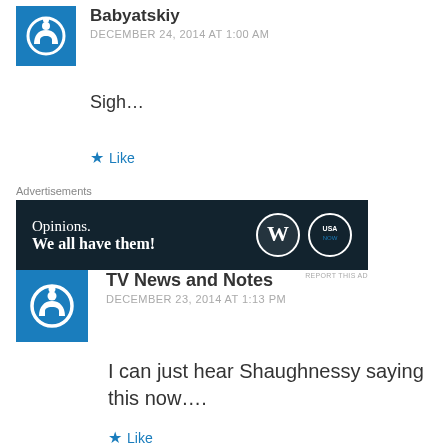Babyatskiy
DECEMBER 24, 2014 AT 1:00 AM
Sigh…
Like
Advertisements
[Figure (screenshot): WordPress/USA Now advertisement banner: 'Opinions. We all have them!' with WordPress and USA Now logos on dark background]
TV News and Notes
DECEMBER 23, 2014 AT 1:13 PM
I can just hear Shaughnessy saying this now….
Like